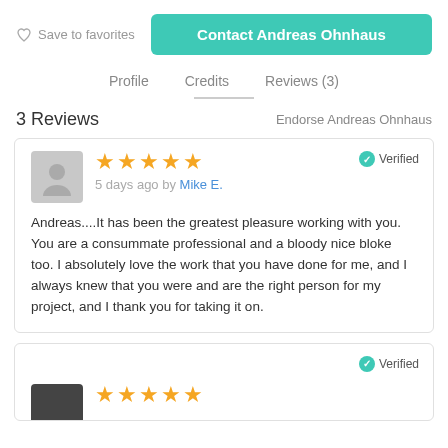Save to favorites
Contact Andreas Ohnhaus
Profile   Credits   Reviews (3)
3 Reviews
Endorse Andreas Ohnhaus
Verified
5 days ago by Mike E.
Andreas....It has been the greatest pleasure working with you. You are a consummate professional and a bloody nice bloke too. I absolutely love the work that you have done for me, and I always knew that you were and are the right person for my project, and I thank you for taking it on.
Verified